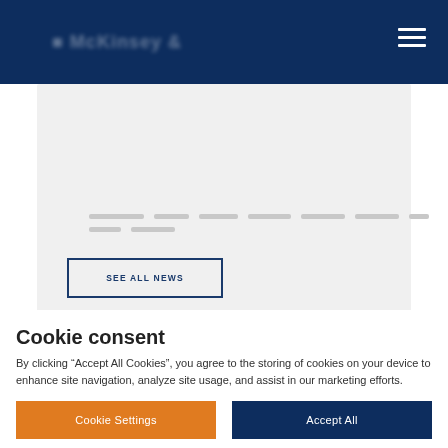[Navigation bar with logo and hamburger menu]
[Figure (screenshot): Gray card placeholder area with skeleton loading lines and a 'SEE ALL NEWS' button outlined in dark blue]
SEE ALL NEWS
Cookie consent
By clicking “Accept All Cookies”, you agree to the storing of cookies on your device to enhance site navigation, analyze site usage, and assist in our marketing efforts.
Cookie Settings
Accept All